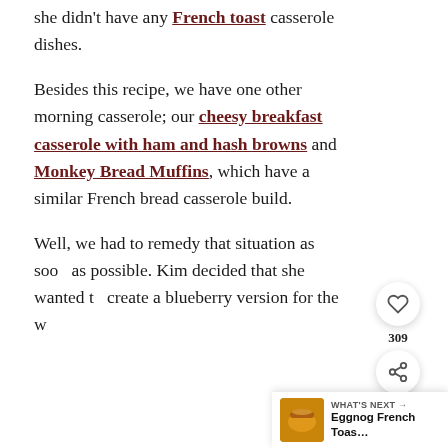she didn't have any French toast casserole dishes.
Besides this recipe, we have one other morning casserole; our cheesy breakfast casserole with ham and hash browns and Monkey Bread Muffins, which have a similar French bread casserole build.
Well, we had to remedy that situation as soon as possible. Kim decided that she wanted to create a blueberry version for the website.